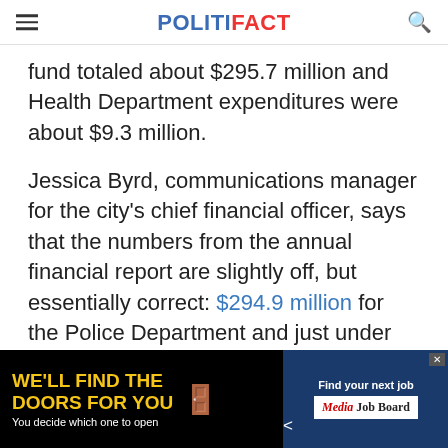POLITIFACT
fund totaled about $295.7 million and Health Department expenditures were about $9.3 million.
Jessica Byrd, communications manager for the city's chief financial officer, says that the numbers from the annual financial report are slightly off, but essentially correct: $294.9 million for the Police Department and just under $9 million for the Health Department in the 2019 fiscal year. (Byrd says that the city is working to improve its financial reporting the di...
[Figure (screenshot): Advertisement overlay at bottom: 'WE'LL FIND THE DOORS FOR YOU / You decide which one to open' on black background with yellow text, and 'Find your next job' with Media Job Board logo on dark blue background.]